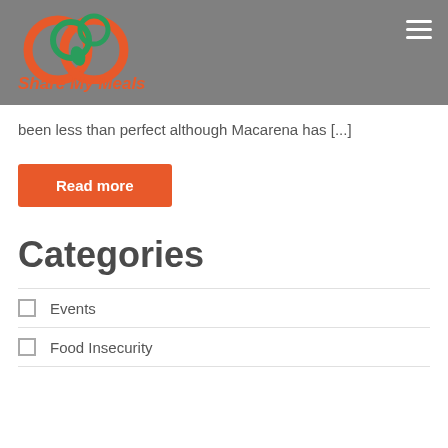[Figure (logo): Share My Meals logo with infinity symbol in orange and green circles, with text 'Share My Meals' in orange italic below]
been less than perfect although Macarena has [...]
Read more
Categories
Events
Food Insecurity